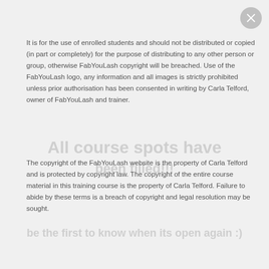It is for the use of enrolled students and should not be distributed or copied (in part or completely) for the purpose of distributing to any other person or group, otherwise FabYouLash copyright will be breached. Use of the FabYouLash logo, any information and all images is strictly prohibited unless prior authorisation has been consented in writing by Carla Telford, owner of FabYouLash and trainer.
The copyright of the FabYouLash website is the property of Carla Telford and is protected by copyright law. The copyright of the entire course material in this training course is the property of Carla Telford. Failure to abide by these terms is a breach of copyright and legal resolution may be sought.